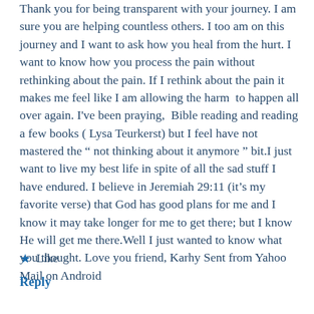Thank you for being transparent with your journey. I am sure you are helping countless others. I too am on this journey and I want to ask how you heal from the hurt. I want to know how you process the pain without rethinking about the pain. If I rethink about the pain it makes me feel like I am allowing the harm to happen all over again. I've been praying,  Bible reading and reading a few books ( Lysa Teurkerst) but I feel have not mastered the " not thinking about it anymore " bit.I just want to live my best life in spite of all the sad stuff I have endured. I believe in Jeremiah 29:11 (it's my favorite verse) that God has good plans for me and I know it may take longer for me to get there; but I know He will get me there.Well I just wanted to know what you thought. Love you friend, Karhy Sent from Yahoo Mail on Android
★ Like
Reply